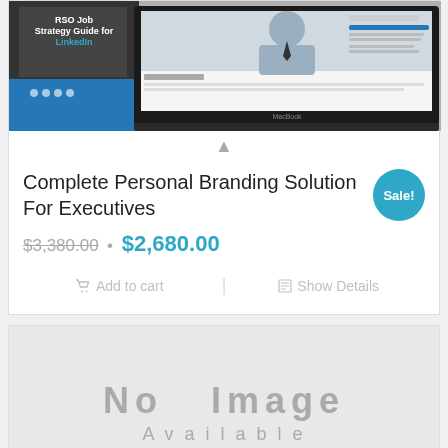[Figure (screenshot): Product image showing a book 'RSO Job Strategy Guide for LinkedIn' and a laptop displaying a professional profile/resume page]
Complete Personal Branding Solution For Executives
$3,380.00 • $2,680.00
Add to cart | Show Details
[Figure (other): No Image placeholder — grey rectangle with 'No Image' text and subtitle text partially visible]